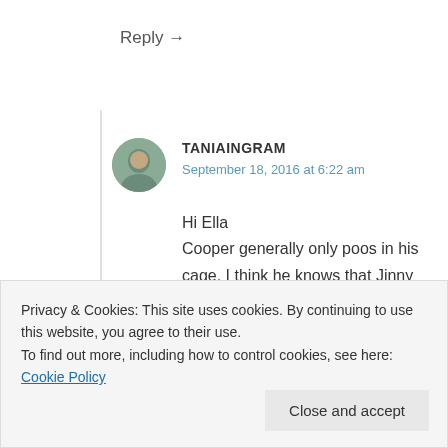Reply →
TANIAINGRAM
September 18, 2016 at 6:22 am
Hi Ella
Cooper generally only poos in his cage. I think he knows that Jinny and Tyrone's mum would get mad if she found little poos all
Privacy & Cookies: This site uses cookies. By continuing to use this website, you agree to their use.
To find out more, including how to control cookies, see here: Cookie Policy
Close and accept